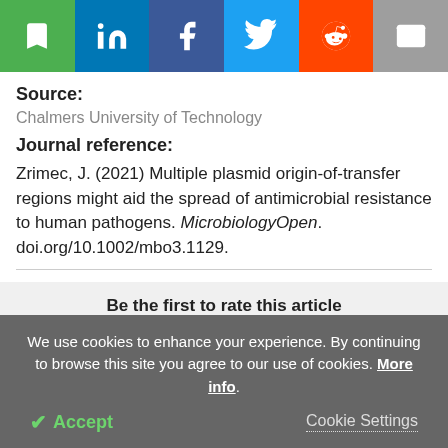[Figure (other): Social sharing bar with icons: bookmark (green), LinkedIn (blue), Facebook (dark blue), Twitter (light blue), Reddit (orange), email (grey)]
Source:
Chalmers University of Technology
Journal reference:
Zrimec, J. (2021) Multiple plasmid origin-of-transfer regions might aid the spread of antimicrobial resistance to human pathogens. MicrobiologyOpen. doi.org/10.1002/mbo3.1129.
Be the first to rate this article
We use cookies to enhance your experience. By continuing to browse this site you agree to our use of cookies. More info.
✔ Accept
Cookie Settings